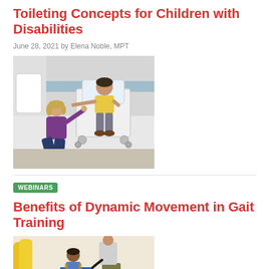Toileting Concepts for Children with Disabilities
June 28, 2021 by Elena Noble, MPT
[Figure (photo): A therapist kneeling beside a child seated in a white wheeled shower/toilet chair in a bathroom setting. The adult woman in a purple top reaches toward the child who is wearing a yellow shirt and gray pants.]
WEBINARS
Benefits of Dynamic Movement in Gait Training
[Figure (photo): A young child using a blue pediatric gait trainer walker in a therapy room, with a therapist standing nearby wearing olive pants and red shoes. Yellow cylindrical objects visible in the background.]